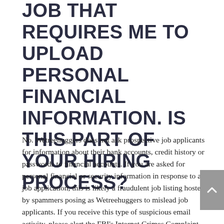JOB THAT REQUIRES ME TO UPLOAD PERSONAL FINANCIAL INFORMATION. IS THIS PART OF YOUR HIRING PROCESS?
No. Wetreehuggers does not ask prospective job applicants for information about their bank accounts, credit history or passwords to financial accounts. If you are asked for personal financial or security information in response to a job application, this is likely a fraudulent job listing hosted by spammers posing as Wetreehuggers to mislead job applicants. If you receive this type of suspicious email activity, please alert the FBI's Internet Crimes Complaint